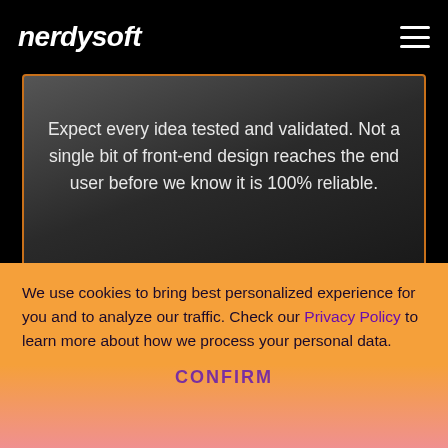nerdysoft
Expect every idea tested and validated. Not a single bit of front-end design reaches the end user before we know it is 100% reliable.
We use cookies to bring best personalized experience for you and to analyze our traffic. Check our Privacy Policy to learn more about how we process your personal data.
CONFIRM